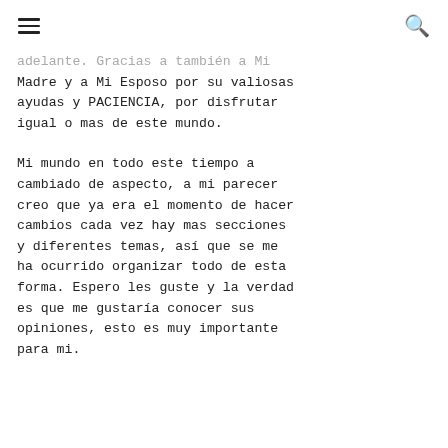[hamburger menu icon] [search icon]
adelante. Gracias a también a Mi Madre y a Mi Esposo por su valiosas ayudas y PACIENCIA, por disfrutar igual o mas de este mundo.
Mi mundo en todo este tiempo a cambiado de aspecto, a mi parecer creo que ya era el momento de hacer cambios cada vez hay mas secciones y diferentes temas, así que se me ha ocurrido organizar todo de esta forma. Espero les guste y la verdad es que me gustaría conocer sus opiniones, esto es muy importante para mi.